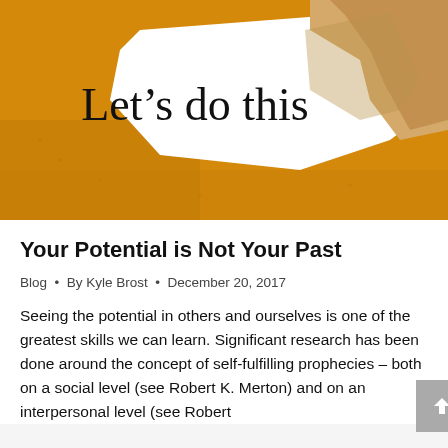[Figure (photo): A torn piece of orange/yellow paper revealing white paper underneath with the text 'Let's do this' in serif font. The torn paper curl is at the top right showing cardboard texture.]
Your Potential is Not Your Past
Blog • By Kyle Brost • December 20, 2017
Seeing the potential in others and ourselves is one of the greatest skills we can learn. Significant research has been done around the concept of self-fulfilling prophecies – both on a social level (see Robert K. Merton) and on an interpersonal level (see Robert